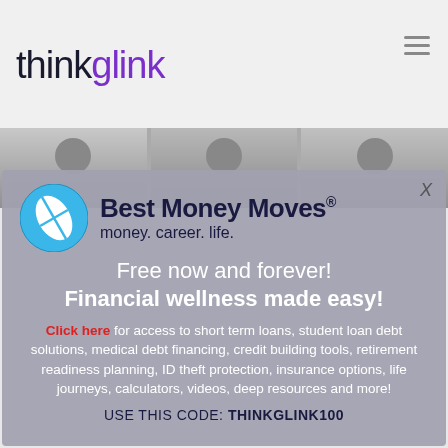thinkglink
[Figure (photo): Strip of three photos showing people's faces/heads, partially visible]
[Figure (logo): Best Money Moves logo with circular blue leaf icon, subtitle: money. career. life.]
Free now and forever!
Financial wellness made easy!
Click here for access to short term loans, student loan debt solutions, medical debt financing, credit building tools, retirement readiness planning, ID theft protection, insurance options, life journeys, calculators, videos, deep resources and more!
USE THIS CODE: THINKGLINK100